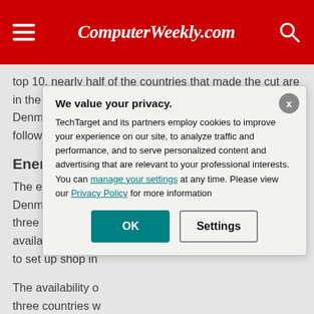ComputerWeekly.com
top 10, nearly half of the countries that made the cut are in the Nordic region, with Sweden, Norway and Denmark in fourth, fifth and sixth place respectively, followed by Finland in eighth and Iceland in 36th.
Energy secu...
The energy secu... Denmark is flagg... three countries m... available renewa... to set up shop in...
The availability o... three countries w... is this combined... of the European... ranked higher th...
We value your privacy.
TechTarget and its partners employ cookies to improve your experience on our site, to analyze traffic and performance, and to serve personalized content and advertising that are relevant to your professional interests. You can manage your settings at any time. Please view our Privacy Policy for more information